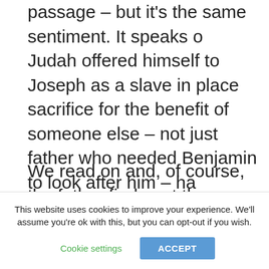passage – but it's the same sentiment. It speaks o Judah offered himself to Joseph as a slave in place sacrifice for the benefit of someone else – not just father who needed Benjamin to look after him – ha favourite, due to the plotting and jealousy of Josep believed him to be dead.
We read on and, of course, the father finds out tha is still alive. I bet there was a party. There usually w happened. Any excuse.
It also reminds me of any number of detective stori
This website uses cookies to improve your experience. We'll assume you're ok with this, but you can opt-out if you wish.
Cookie settings
ACCEPT